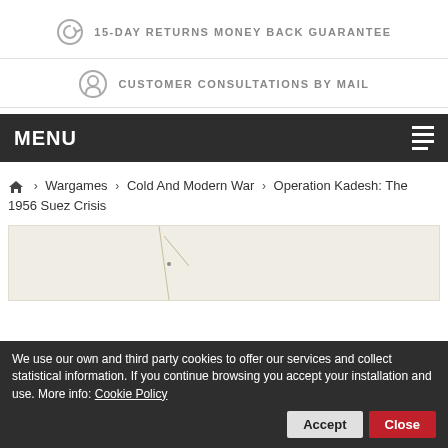15-DAY RETURNS MONEY BACK GUARANTEE
CUSTOMER CONSULTATIONS BY MAIL
MENU
Wargames › Cold And Modern War › Operation Kadesh: The 1956 Suez Crisis
[Figure (photo): Partial view of a product image with a light beige background showing a map or game board fragment]
We use our own and third party cookies to offer our services and collect statistical information. If you continue browsing you accept your installation and use. More info: Cookie Policy